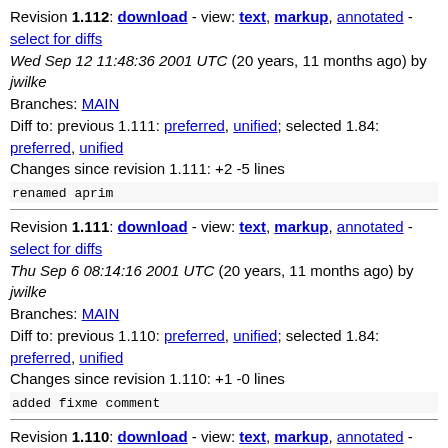Revision 1.112: download - view: text, markup, annotated - select for diffs
Wed Sep 12 11:48:36 2001 UTC (20 years, 11 months ago) by jwilke
Branches: MAIN
Diff to: previous 1.111: preferred, unified; selected 1.84: preferred, unified
Changes since revision 1.111: +2 -5 lines
renamed aprim
Revision 1.111: download - view: text, markup, annotated - select for diffs
Thu Sep 6 08:14:16 2001 UTC (20 years, 11 months ago) by jwilke
Branches: MAIN
Diff to: previous 1.110: preferred, unified; selected 1.84: preferred, unified
Changes since revision 1.110: +1 -0 lines
added fixme comment
Revision 1.110: download - view: text, markup, annotated - select for diffs
Wed Sep 5 14:25:48 2001 UTC (20 years, 11 months ago) by jwilke
Branches: MAIN